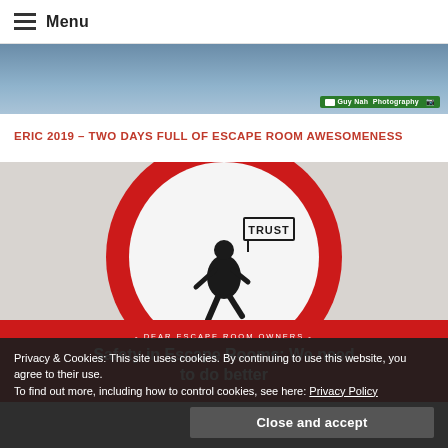Menu
[Figure (photo): Partial view of a photograph with a green badge reading 'Guy Nah Photography' with a camera icon]
ERIC 2019 – TWO DAYS FULL OF ESCAPE ROOM AWESOMENESS
[Figure (photo): A red circular road sign with a white circle inside showing a black silhouette of a walking person carrying a sign that reads 'TRUST'. Below the image is a red overlay with text: '- DEAR ESCAPE ROOM OWNERS -' and 'Safety in Escape Rooms: We need to do better']
Privacy & Cookies: This site uses cookies. By continuing to use this website, you agree to their use.
To find out more, including how to control cookies, see here: Privacy Policy